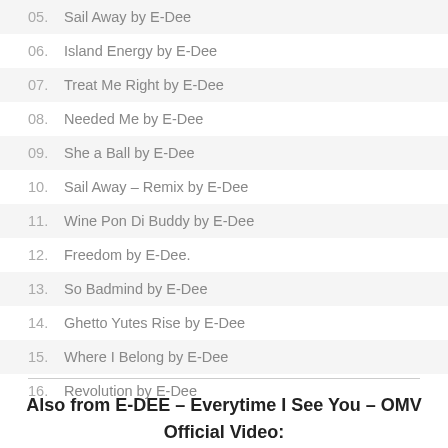05.  Sail Away by E-Dee
06.  Island Energy by E-Dee
07.  Treat Me Right by E-Dee
08.  Needed Me by E-Dee
09.  She a Ball by E-Dee
10.  Sail Away – Remix by E-Dee
11.  Wine Pon Di Buddy by E-Dee
12.  Freedom by E-Dee.
13.  So Badmind by E-Dee
14.  Ghetto Yutes Rise by E-Dee
15.  Where I Belong by E-Dee
16.  Revolution by E-Dee
Also from E-DEE – Everytime I See You – OMV Official Video: